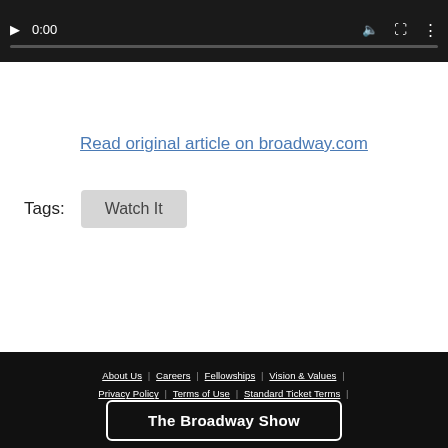[Figure (screenshot): Video player controls bar showing play button, time display 0:00, volume icon, fullscreen icon, and options icon, with a progress bar beneath, on dark background]
Read original article on broadway.com
Tags: Watch It
About Us | Careers | Fellowships | Vision & Values | Privacy Policy | Terms of Use | Standard Ticket Terms | Season Subscriber Terms | Group Ticket Terms | Do Not Sell My Info © 2021 The John Gore Organization, Inc
The Broadway Show